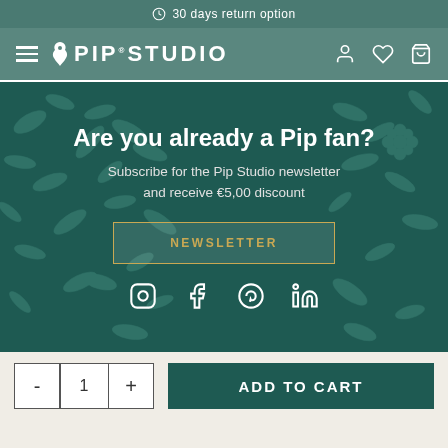30 days return option
[Figure (logo): Pip Studio logo with hamburger menu and navigation icons (user, heart, cart)]
Are you already a Pip fan?
Subscribe for the Pip Studio newsletter and receive €5,00 discount
NEWSLETTER
[Figure (infographic): Social media icons: Instagram, Facebook, Pinterest, LinkedIn]
- 1 + ADD TO CART